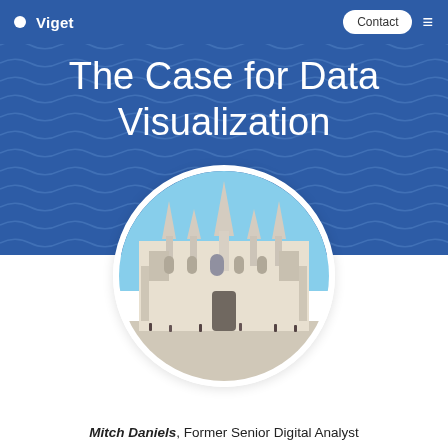Viget | Contact
The Case for Data Visualization
[Figure (photo): Circular cropped photograph of the Milan Cathedral (Duomo di Milano) with ornate Gothic spires against a blue sky, with tourists visible in the foreground plaza]
Mitch Daniels, Former Senior Digital Analyst